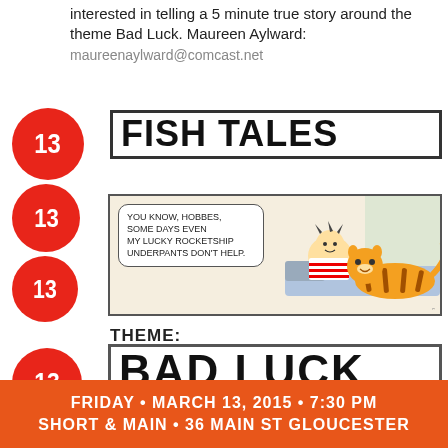interested in telling a 5 minute true story around the theme Bad Luck. Maureen Aylward: maureenaylward@comcast.net
[Figure (illustration): Fish Tales event flyer with red number 13 circles stacked vertically on left side, 'FISH TALES' title in large bold font with border, Calvin and Hobbes comic strip panel, 'THEME: BAD LUCK' text, contact information, and orange bottom banner with event date/location]
PLEASE CONTACT: Maureen Aylward maureenaylward@comcast.net
IF YOU HAVE A STORY TO TELL!
FRIDAY • MARCH 13, 2015 • 7:30 PM SHORT & MAIN • 36 MAIN ST GLOUCESTER